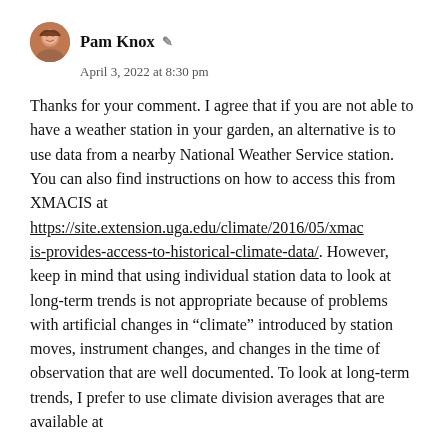Pam Knox
April 3, 2022 at 8:30 pm
Thanks for your comment. I agree that if you are not able to have a weather station in your garden, an alternative is to use data from a nearby National Weather Service station. You can also find instructions on how to access this from XMACIS at https://site.extension.uga.edu/climate/2016/05/xmacis-provides-access-to-historical-climate-data/. However, keep in mind that using individual station data to look at long-term trends is not appropriate because of problems with artificial changes in “climate” introduced by station moves, instrument changes, and changes in the time of observation that are well documented. To look at long-term trends, I prefer to use climate division averages that are available at